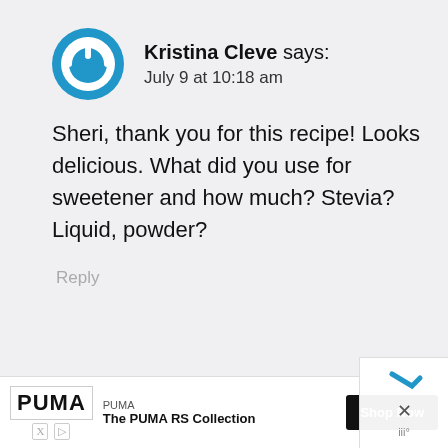[Figure (illustration): Blue circular avatar icon with a power button symbol in white]
Kristina Cleve says: July 9 at 10:18 am
Sheri, thank you for this recipe! Looks delicious. What did you use for sweetener and how much? Stevia? Liquid, powder?
Reply
[Figure (infographic): PUMA advertisement banner: The PUMA RS Collection with Shop Now button]